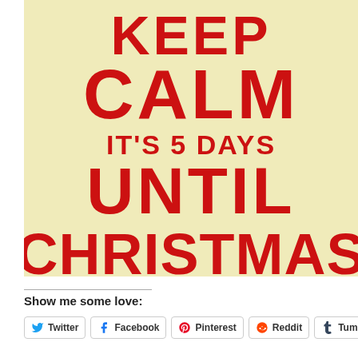[Figure (illustration): Keep Calm style poster with cream/yellow background and bold red text reading: KEEP CALM IT'S 5 DAYS UNTIL CHRISTMAS]
Show me some love:
Twitter
Facebook
Pinterest
Reddit
Tumblr